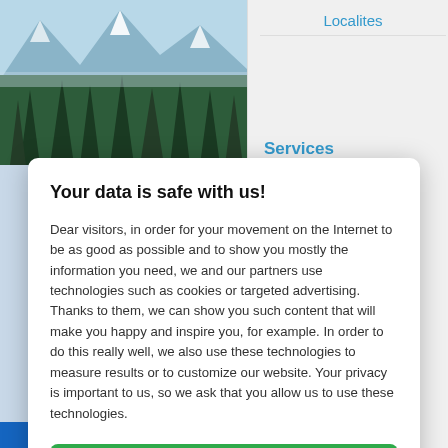[Figure (screenshot): Background webpage showing mountain/forest landscape image on left and navigation panel on right with 'Localites' and 'Services' links visible]
Your data is safe with us!
Dear visitors, in order for your movement on the Internet to be as good as possible and to show you mostly the information you need, we and our partners use technologies such as cookies or targeted advertising. Thanks to them, we can show you such content that will make you happy and inspire you, for example. In order to do this really well, we also use these technologies to measure results or to customize our website. Your privacy is important to us, so we ask that you allow us to use these technologies.
Accept
Deny
Set